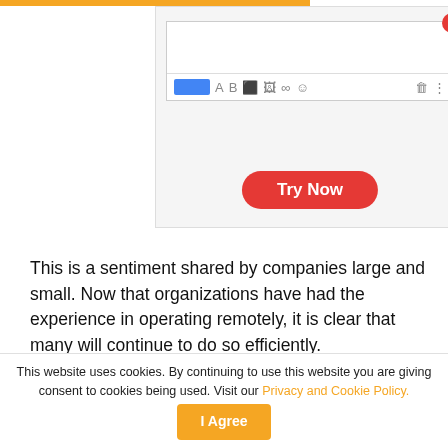[Figure (screenshot): Screenshot of an email compose toolbar interface with a red 'Try Now' button below it]
This is a sentiment shared by companies large and small. Now that organizations have had the experience in operating remotely, it is clear that many will continue to do so efficiently.
Companies are reconsidering their next move, and that includes changing the way in where and how we engage with our colleagues. This means focusing on altering traditional workplace culture, recruitment strategies,
This website uses cookies. By continuing to use this website you are giving consent to cookies being used. Visit our Privacy and Cookie Policy.